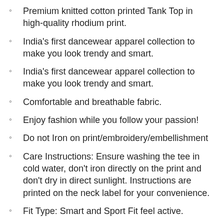Premium knitted cotton printed Tank Top in high-quality rhodium print.
India's first dancewear apparel collection to make you look trendy and smart.
India's first dancewear apparel collection to make you look trendy and smart.
Comfortable and breathable fabric.
Enjoy fashion while you follow your passion!
Do not Iron on print/embroidery/embellishment
Care Instructions: Ensure washing the tee in cold water, don't iron directly on the print and don't dry in direct sunlight. Instructions are printed on the neck label for your convenience.
Fit Type: Smart and Sport Fit feel active.
Material – These are tank tops are made of pre-shrunk cotton and are soft & smooth with a high thread count. They are